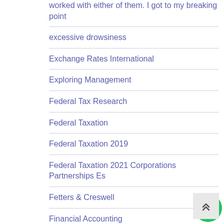worked with either of them. I got to my breaking point
excessive drowsiness
Exchange Rates International
Exploring Management
Federal Tax Research
Federal Taxation
Federal Taxation 2019
Federal Taxation 2021 Corporations Partnerships Es
Fetters & Creswell
Financial Accounting
Financial Accounting Theory
Financial Accounting Tool